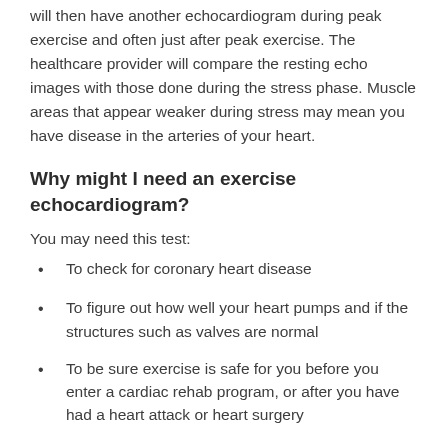will then have another echocardiogram during peak exercise and often just after peak exercise. The healthcare provider will compare the resting echo images with those done during the stress phase. Muscle areas that appear weaker during stress may mean you have disease in the arteries of your heart.
Why might I need an exercise echocardiogram?
You may need this test:
To check for coronary heart disease
To figure out how well your heart pumps and if the structures such as valves are normal
To be sure exercise is safe for you before you enter a cardiac rehab program, or after you have had a heart attack or heart surgery